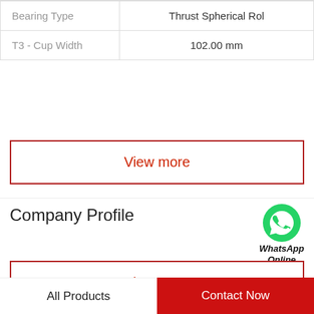|  |  |
| --- | --- |
| Bearing Type | Thrust Spherical Rol |
| T3 - Cup Width | 102.00 mm |
View more
Company Profile
Bearing de Mexico, S.A.
Phone   5565-6235
View more
All Products
Contact Now